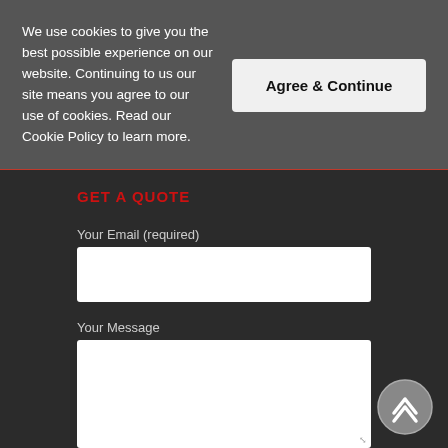We use cookies to give you the best possible experience on our website. Continuing to us our site means you agree to our use of cookies. Read our Cookie Policy to learn more.
Agree & Continue
GET A QUOTE
Your Email (required)
Your Message